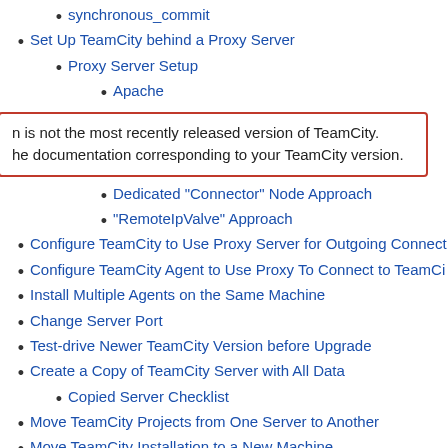synchronous_commit
Set Up TeamCity behind a Proxy Server
Proxy Server Setup
Apache
n is not the most recently released version of TeamCity.
he documentation corresponding to your TeamCity version.
Dedicated "Connector" Node Approach
"RemoteIpValve" Approach
Configure TeamCity to Use Proxy Server for Outgoing Connect
Configure TeamCity Agent to Use Proxy To Connect to TeamCi
Install Multiple Agents on the Same Machine
Change Server Port
Test-drive Newer TeamCity Version before Upgrade
Create a Copy of TeamCity Server with All Data
Copied Server Checklist
Move TeamCity Projects from One Server to Another
Move TeamCity Installation to a New Machine
Move TeamCity Agent
Share the Build number for Builds in a Chain Build
Make Temporary Build Files Erased between the Builds
Clear Build Queue if It Has Too Many Builds due to a Configura
Automatically create or change TeamCity build configuration